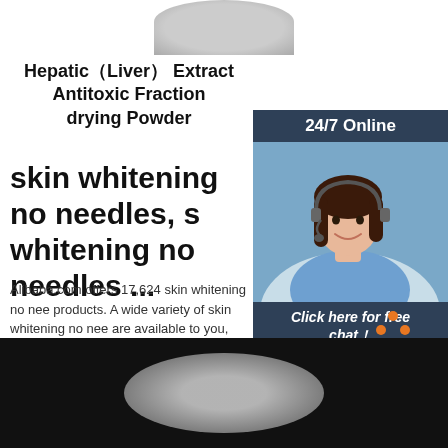[Figure (photo): Top portion of a round silver/gray product container (lid), cropped at top]
Hepatic（Liver） Extract Antitoxic Fraction drying Powder
[Figure (infographic): Side widget showing '24/7 Online' header, customer service agent photo, 'Click here for free chat!' text, and orange QUOTATION button]
skin whitening no needles, s whitening no needles ...
Alibaba.com offers 17,624 skin whitening no nee products. A wide variety of skin whitening no nee are available to you, such as feature, style, and a
[Figure (illustration): Green 'Get Price' button]
[Figure (logo): Orange TOP badge with dots arranged in triangle pattern]
[Figure (photo): Bottom portion of black background with round white/gray powder product container]